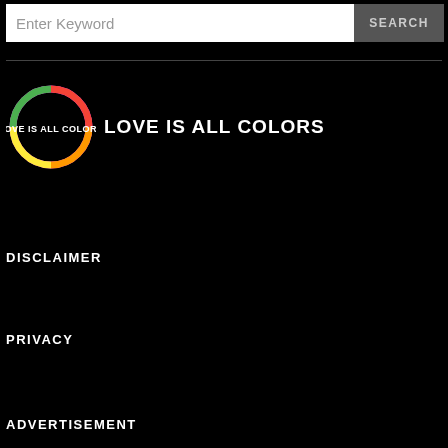Enter Keyword | SEARCH
[Figure (logo): Love Is All Colors logo - circular rainbow ring with white text LOVE IS ALL COLORS]
DISCLAIMER
PRIVACY
ADVERTISEMENT